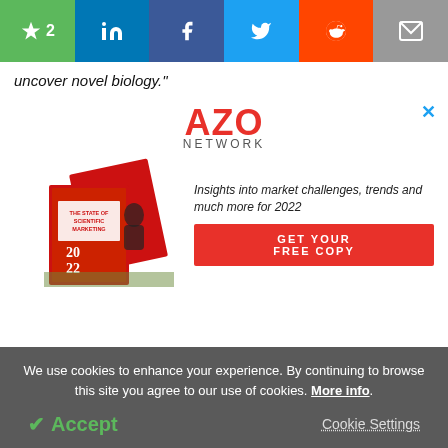Social sharing bar with bookmark (2), LinkedIn, Facebook, Twitter, Reddit, Email
uncover novel biology.”
[Figure (screenshot): AZO Network advertisement banner for 'The State of Scientific Marketing 2022' report with red cover books, tagline 'Insights into market challenges, trends and much more for 2022', and a red GET YOUR FREE COPY button]
We use cookies to enhance your experience. By continuing to browse this site you agree to our use of cookies. More info.
Accept   Cookie Settings